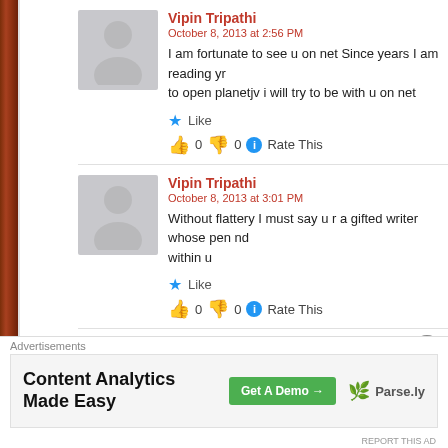Vipin Tripathi
October 8, 2013 at 2:56 PM
I am fortunate to see u on net Since years I am reading yr... to open planetjv i will try to be with u on net
Like
👍 0 👎 0 ℹ Rate This
Vipin Tripathi
October 8, 2013 at 3:01 PM
Without flattery I must say u r a gifted writer whose pen nd... within u
Like
👍 0 👎 0 ℹ Rate This
Shailesh Dhanani
Advertisements
Content Analytics Made Easy  Get A Demo →  Parse.ly